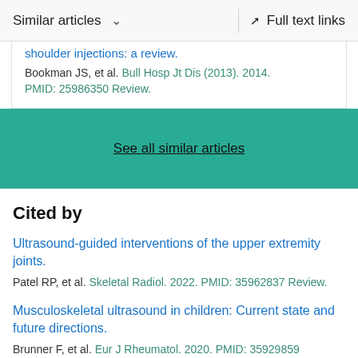Similar articles  ∨  |  Full text links
shoulder injections: a review.
Bookman JS, et al. Bull Hosp Jt Dis (2013). 2014.
PMID: 25986350 Review.
See all similar articles
Cited by
Ultrasound-guided interventions of the upper extremity joints.
Patel RP, et al. Skeletal Radiol. 2022. PMID: 35962837 Review.
Musculoskeletal ultrasound in children: Current state and future directions.
Brunner F, et al. Eur J Rheumatol. 2020. PMID: 35929859